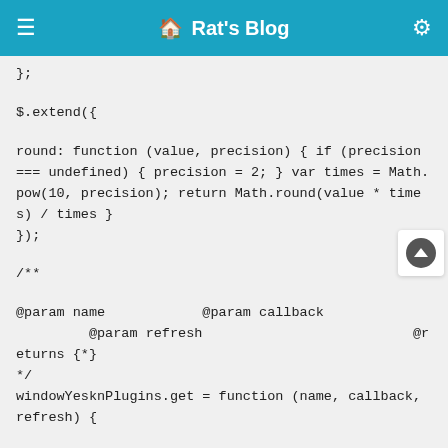≡  🏠 Rat's Blog  ⚙
};

$.extend({

round: function (value, precision) { if (precision === undefined) { precision = 2; } var times = Math.pow(10, precision); return Math.round(value * times) / times }
});

/**

@param name            @param callback
         @param refresh                          @returns {*}
*/
windowYesknPlugins.get = function (name, callback, refresh) {

const self = windowYesknPlugins; if (self[name].initialized === true) { if (refresh) refresh(self[name].result); if (callback) self[name].result = callback(eval(self[name].identifier)); return self[name]; } const scripts = self[name].scripts; const links = self[name].links; for (const key in scripts) { let scriptElm = document.createElement('script'); if (scripts.hasOwnProperty(key)) { scriptElm.setAttribute('src',